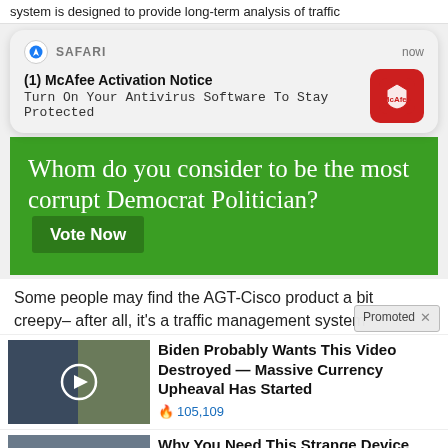system is designed to provide long-term analysis of traffic
[Figure (screenshot): Safari browser push notification card: '(1) McAfee Activation Notice - Turn On Your Antivirus Software To Stay Protected' with McAfee red icon, timestamped 'now']
[Figure (infographic): Green banner ad: 'Whom do you consider to be the most corrupt Democrat Politician? Vote Now']
Some people may find the AGT-Cisco product a bit creepy– after all, it's a traffic management system
Promoted
[Figure (screenshot): Promoted ad thumbnail: Biden video with play button]
Biden Probably Wants This Video Destroyed — Massive Currency Upheaval Has Started
🔥 105,109
[Figure (screenshot): Promoted ad thumbnail: street scene with play button]
Why You Need This Strange Device When The Grid Goes Down
🔥 8,560